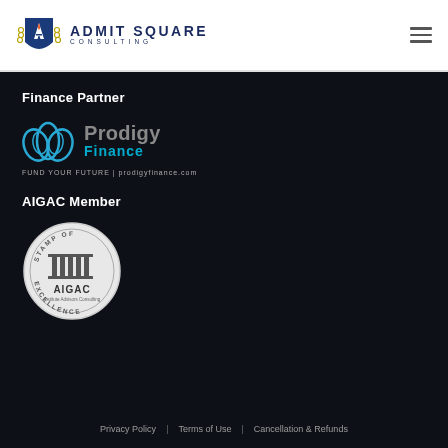[Figure (logo): Admit Square Consulting logo with shield icon containing flame and A symbol, plus laurel wreath, and 'ADMIT SQUARE CONSULTING' text]
Finance Partner
[Figure (logo): Prodigy Finance logo with lotus/flower icon in blue, wordmark 'Prodigy' in grey and 'Finance' in cyan, tagline 'FUND YOUR FUTURE | prodigyfinance.com']
AIGAC Member
[Figure (logo): AIGAC Stamp of Excellence circular badge/seal with pillars and 'AIGAC' text and 'Institute Advisors Consulting' subtitle]
Privacy Policy | Terms of Use | Cancellation & Refunds